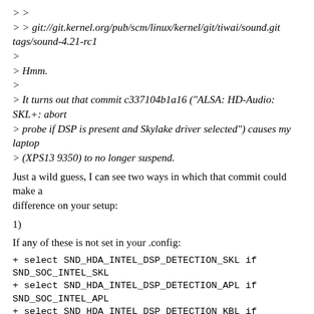> >
> > git://git.kernel.org/pub/scm/linux/kernel/git/tiwai/sound.git tags/sound-4.21-rc1
>
> Hmm.
>
> It turns out that commit c337104b1a16 ("ALSA: HD-Audio: SKL+: abort
> probe if DSP is present and Skylake driver selected") causes my laptop
> (XPS13 9350) to no longer suspend.
Just a wild guess, I can see two ways in which that commit could make a
difference on your setup:
1)
If any of these is not set in your .config:
+ select SND_HDA_INTEL_DSP_DETECTION_SKL if SND_SOC_INTEL_SKL
+ select SND_HDA_INTEL_DSP_DETECTION_APL if SND_SOC_INTEL_APL
+ select SND_HDA_INTEL_DSP_DETECTION_KBL if